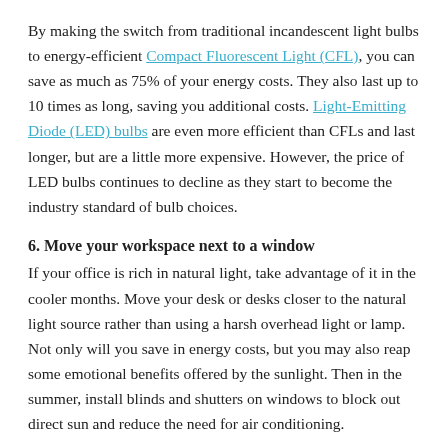By making the switch from traditional incandescent light bulbs to energy-efficient Compact Fluorescent Light (CFL), you can save as much as 75% of your energy costs. They also last up to 10 times as long, saving you additional costs. Light-Emitting Diode (LED) bulbs are even more efficient than CFLs and last longer, but are a little more expensive. However, the price of LED bulbs continues to decline as they start to become the industry standard of bulb choices.
6. Move your workspace next to a window
If your office is rich in natural light, take advantage of it in the cooler months. Move your desk or desks closer to the natural light source rather than using a harsh overhead light or lamp. Not only will you save in energy costs, but you may also reap some emotional benefits offered by the sunlight. Then in the summer, install blinds and shutters on windows to block out direct sun and reduce the need for air conditioning.
7. Save on water